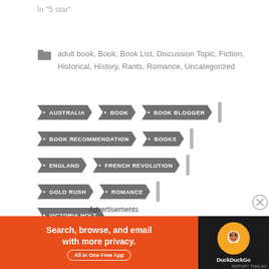In "5 star"
adult book, Book, Book List, Discussion Topic, Fiction, Historical, History, Rants, Romance, Uncategorized
AUSTRALIA
BOOK
BOOK BLOGGER
BOOK RECOMMENDATION
BOOKS
ENGLAND
FRENCH REVOLUTION
GOLD RUSH
ROMANCE
VICTORIA HOLT
Advertisements
[Figure (other): DuckDuckGo advertisement banner: Search, browse, and email with more privacy. All in One Free App]